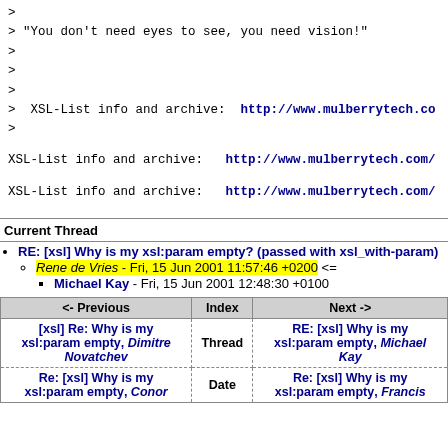> 
> "You don't need eyes to see, you need vision!"
>
>
>
>  XSL-List info and archive:  http://www.mulberrytech.co
>
XSL-List info and archive:   http://www.mulberrytech.com/
XSL-List info and archive:   http://www.mulberrytech.com/
Current Thread
RE: [xsl] Why is my xsl:param empty? (passed with xsl_with-param)
Rene de Vries - Fri, 15 Jun 2001 11:57:46 +0200 <=
Michael Kay - Fri, 15 Jun 2001 12:48:30 +0100
| <- Previous | Index | Next -> |
| --- | --- | --- |
| [xsl] Re: Why is my xsl:param empty, Dimitre Novatchev | Thread | RE: [xsl] Why is my xsl:param empty, Michael Kay |
| Re: [xsl] Why is my xsl:param empty, Conor | Date | Re: [xsl] Why is my xsl:param empty, Francis |